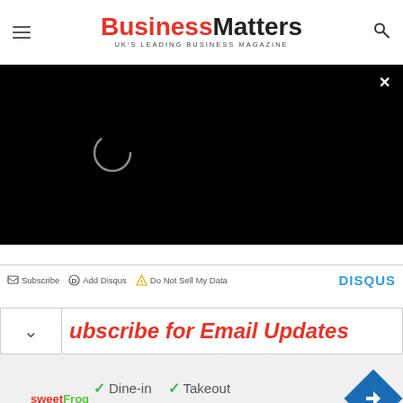BusinessMatters — UK'S LEADING BUSINESS MAGAZINE
[Figure (screenshot): Black video loading screen with spinner circle and X close button]
Subscribe  Add Disqus  Do Not Sell My Data  DISQUS
ubscribe for Email Updates
[Figure (infographic): sweetFrog ad banner with checkmarks: Dine-in, Takeout, Delivery and blue navigation diamond icon]